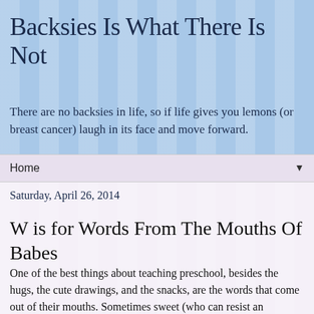Backsies Is What There Is Not
There are no backsies in life, so if life gives you lemons (or breast cancer) laugh in its face and move forward.
Home
Saturday, April 26, 2014
W is for Words From The Mouths Of Babes
One of the best things about teaching preschool, besides the hugs, the cute drawings, and the snacks, are the words that come out of their mouths. Sometimes sweet (who can resist an exuberant "I love you!" from a 4 year old, I ask you?), sometimes hilarious, always interesting. Following is a representative sampling: